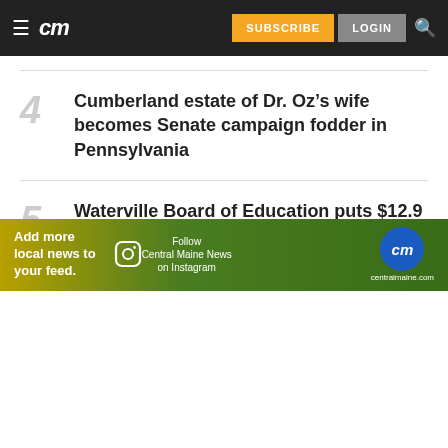cm | SUBSCRIBE | LOGIN
4 Cumberland estate of Dr. Oz’s wife becomes Senate campaign fodder in Pennsylvania
5 Waterville Board of Education puts $12.9 million Albert S. Hall School plans on hold
[Figure (infographic): Ad banner: Add more local news to your feed. Follow Central Maine News on Instagram. centralmaine.com logo.]